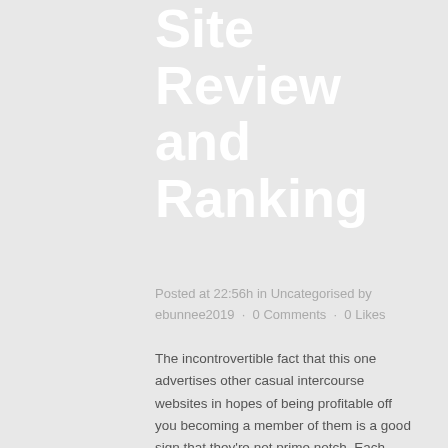Site Review and Ranking
Posted at 22:56h in Uncategorised by ebunnee2019  ·  0 Comments  ·  0 Likes
The incontrovertible fact that this one advertises other casual intercourse websites in hopes of being profitable off you becoming a member of them is a good sign that they're not prime notch. Each attainable date must upload an image and many have uploaded multiple pics. They offer their physique type, hair and eye shade, race, sexual orientation, and want (hook up, casual intercourse, courting, and so on).